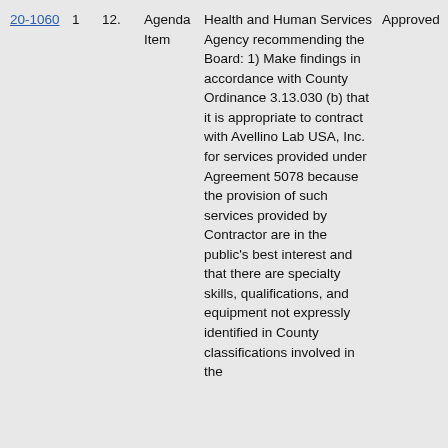| ID |  |  | Type | Description | Status | Vote |
| --- | --- | --- | --- | --- | --- | --- |
| 20-1060 | 1 | 12. | Agenda Item | Health and Human Services Agency recommending the Board: 1) Make findings in accordance with County Ordinance 3.13.030 (b) that it is appropriate to contract with Avellino Lab USA, Inc. for services provided under Agreement 5078 because the provision of such services provided by Contractor are in the public's best interest and that there are specialty skills, qualifications, and equipment not expressly identified in County classifications involved in the | Approved | Pass |